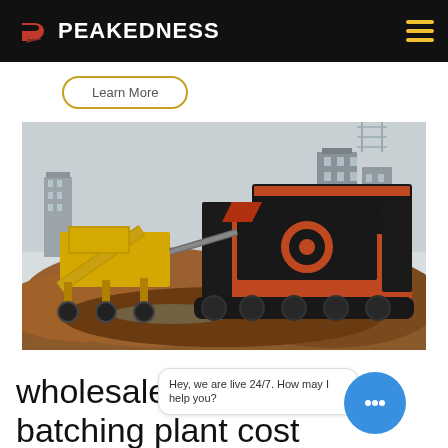PEAKEDNESS
Learn More
[Figure (photo): Large industrial mobile crushing/batching plant machinery on a construction site with dirt mounds. An orange-and-black tracked crusher and a yellow conveyor/screening unit are visible, with city buildings in the background.]
wholesale batching plant cost
Hey, we are live 24/7. How may I help you?